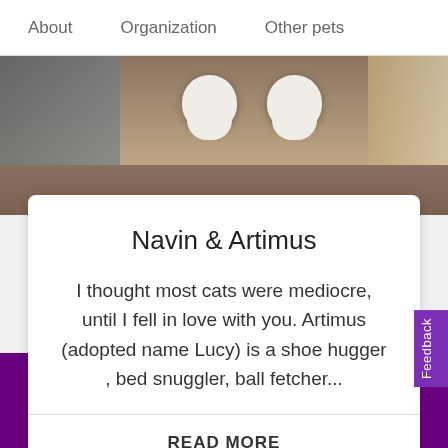About   Organization   Other pets
[Figure (photo): Close-up photo of white cat paws resting on a brown surface, with a blue patterned fabric visible on the left side]
Navin & Artimus
I thought most cats were mediocre, until I fell in love with you. Artimus (adopted name Lucy) is a shoe hugger , bed snuggler, ball fetcher...
READ MORE